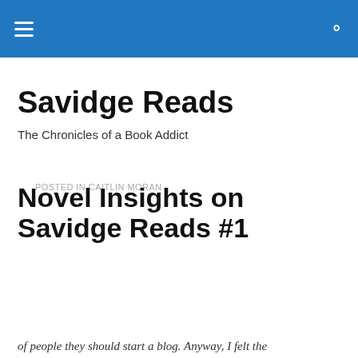Savidge Reads
The Chronicles of a Book Addict
POSTED IN CAITLIN MORAN
Novel Insights on Savidge Reads #1
Privacy & Cookies: This site uses cookies. By continuing to use this website, you agree to their use.
To find out more, including how to control cookies, see here: Cookie Policy
of people they should start a blog. Anyway, I felt the